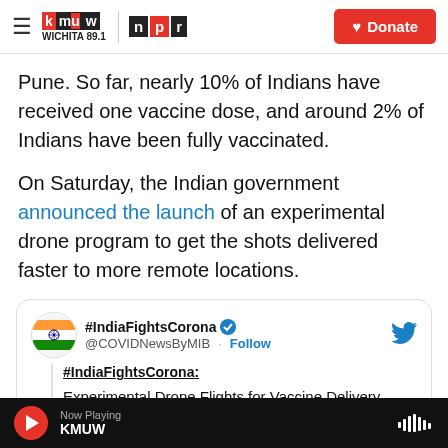[Figure (logo): KMUW Wichita 89.1 and NPR logos with hamburger menu and Donate button in header]
Pune. So far, nearly 10% of Indians have received one vaccine dose, and around 2% of Indians have been fully vaccinated.
On Saturday, the Indian government announced the launch of an experimental drone program to get the shots delivered faster to more remote locations.
[Figure (screenshot): Embedded tweet from #IndiaFightsCorona (@COVIDNewsByMIB) with Follow button and Twitter bird icon. Tweet text: #IndiaFightsCorona: Experimental Drone Flights for Vaccine Delivery]
Now Playing KMUW